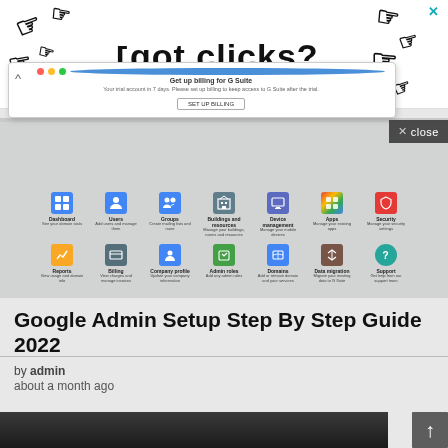[Figure (screenshot): Advertisement banner with cursor/hand icons and text 'got clicks?']
[Figure (screenshot): Popup modal showing 'Get up billing for G Suite' with dots and button]
[Figure (screenshot): Google Admin console dashboard showing icons for Dashboard, Users, Groups, Buildings and resources, Device management, Apps, Security, Reports, Billing, Company profile, Admin roles, Domains, Data migration, Support]
× close
Google Admin Setup Step By Step Guide 2022
by admin
about a month ago
[Figure (photo): Bottom portion of an article page showing beginning of a photo]